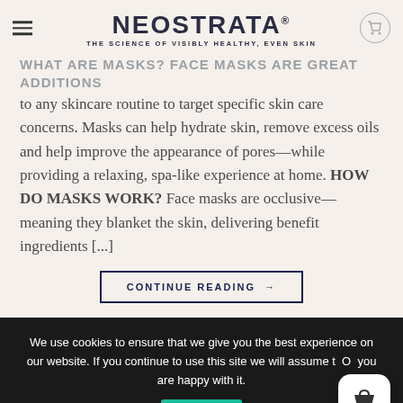NEOSTRATA® THE SCIENCE OF VISIBLY HEALTHY, EVEN SKIN
WHAT ARE MASKS? Face masks are great additions to any skincare routine to target specific skin care concerns. Masks can help hydrate skin, remove excess oils and help improve the appearance of pores—while providing a relaxing, spa-like experience at home. HOW DO MASKS WORK? Face masks are occlusive—meaning they blanket the skin, delivering benefit ingredients [...]
CONTINUE READING →
We use cookies to ensure that we give you the best experience on our website. If you continue to use this site we will assume that you are happy with it.
Ok